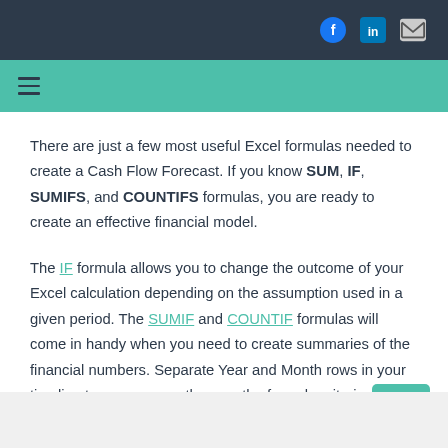Social icons: Facebook, LinkedIn, Email
Navigation menu icon (hamburger)
There are just a few most useful Excel formulas needed to create a Cash Flow Forecast. If you know SUM, IF, SUMIFS, and COUNTIFS formulas, you are ready to create an effective financial model.
The IF formula allows you to change the outcome of your Excel calculation depending on the assumption used in a given period. The SUMIF and COUNTIF formulas will come in handy when you need to create summaries of the financial numbers. Separate Year and Month rows in your timeline to you can use them as the formula criteria.